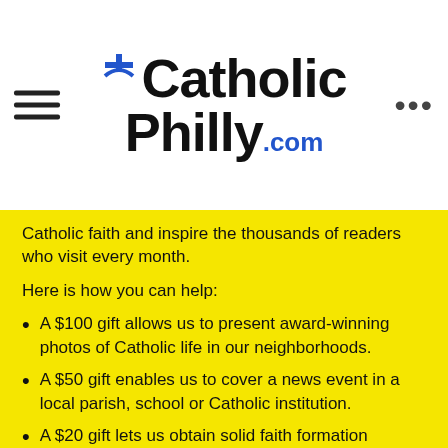[Figure (logo): CatholicPhilly.com logo with cross icon, hamburger menu icon on left, ellipsis menu icon on right]
Catholic faith and inspire the thousands of readers who visit every month.
Here is how you can help:
A $100 gift allows us to present award-winning photos of Catholic life in our neighborhoods.
A $50 gift enables us to cover a news event in a local parish, school or Catholic institution.
A $20 gift lets us obtain solid faith formation resources that can deepen your spirituality and knowledge of the faith.
A small, automated monthly donation means you can